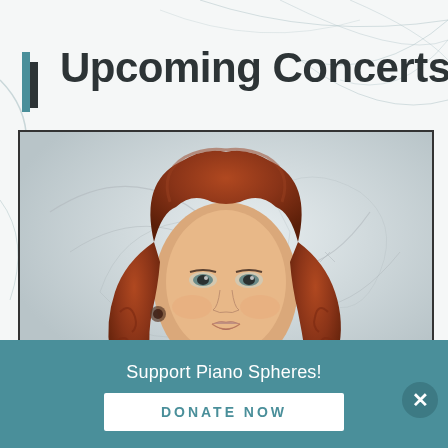Upcoming Concerts
[Figure (photo): Portrait photo of a woman with voluminous auburn/red wavy hair, wearing a white jacket, looking gently at the camera. Background is light grey/white with faint abstract line drawings.]
Support Piano Spheres!
Donate Now